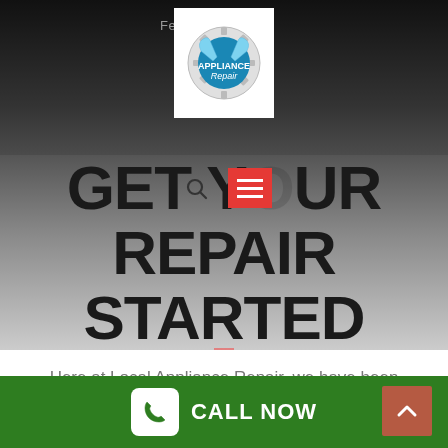February 06, 2
[Figure (logo): Appliance Repair logo with wrenches and gear on white background]
GET YOUR REPAIR STARTED
Here at Local Appliance Repair, we have been supplying our clients with trusted skilled repair services for years. Our crew of trustworthy and skilled repair technicians are always dedicated to bringing our customers the best top-notch repair
CALL NOW